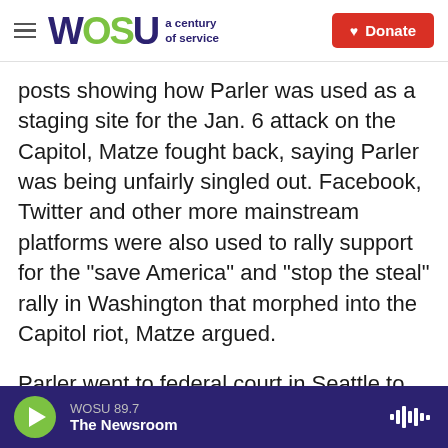WOSU a century of service | Donate
posts showing how Parler was used as a staging site for the Jan. 6 attack on the Capitol, Matze fought back, saying Parler was being unfairly singled out. Facebook, Twitter and other more mainstream platforms were also used to rally support for the "save America" and "stop the steal" rally in Washington that morphed into the Capitol riot, Matze argued.
Parler went to federal court in Seattle to sue Amazon, claiming the tech giant breached its contract with Parler by abruptly terminating service and that Amazon was abusing its market power by
WOSU 89.7 | The Newsroom